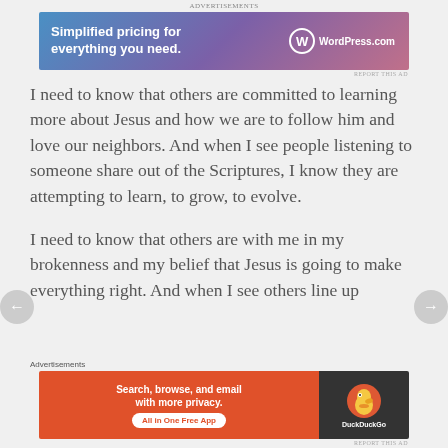[Figure (screenshot): WordPress.com advertisement banner: 'Simplified pricing for everything you need.' with WordPress logo]
I need to know that others are committed to learning more about Jesus and how we are to follow him and love our neighbors. And when I see people listening to someone share out of the Scriptures, I know they are attempting to learn, to grow, to evolve.
I need to know that others are with me in my brokenness and my belief that Jesus is going to make everything right. And when I see others line up
Advertisements
[Figure (screenshot): DuckDuckGo advertisement: 'Search, browse, and email with more privacy. All in One Free App' with DuckDuckGo logo]